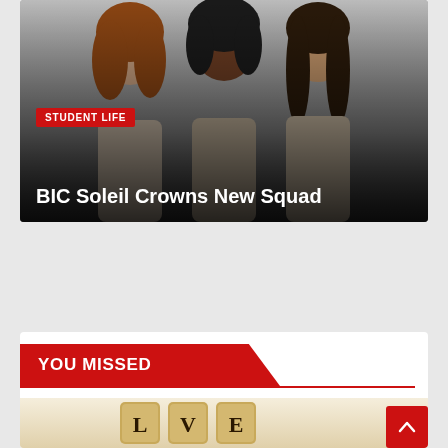[Figure (photo): Three smiling women posing together against a grey background, used as hero image for article about BIC Soleil crowning new squad]
STUDENT LIFE
BIC Soleil Crowns New Squad
YOU MISSED
[Figure (photo): Scrabble tiles spelling LOVE arranged on a wooden surface]